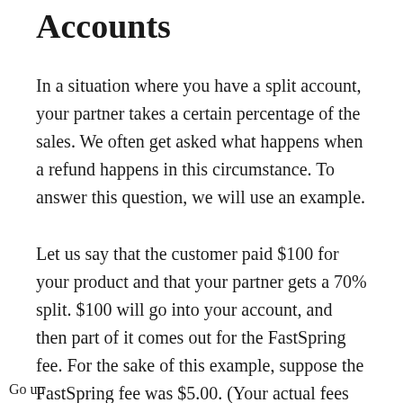Accounts
In a situation where you have a split account, your partner takes a certain percentage of the sales. We often get asked what happens when a refund happens in this circumstance. To answer this question, we will use an example.
Let us say that the customer paid $100 for your product and that your partner gets a 70% split. $100 will go into your account, and then part of it comes out for the FastSpring fee. For the sake of this example, suppose the FastSpring fee was $5.00. (Your actual fees may vary.) So
Go up